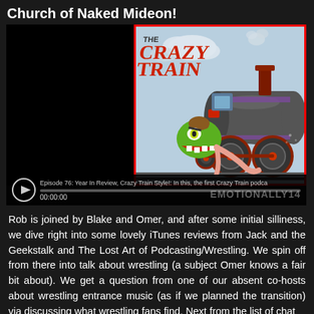Church of Naked Mideon!
[Figure (screenshot): Podcast player embed showing a cartoon illustration of 'The Crazy Train' podcast logo — a stylized train engine with a green monster character — and a player bar with play button, episode title, progress bar, and timestamp 00:00:00. Watermark reads EMOTIONALLY14.]
Rob is joined by Blake and Omer, and after some initial silliness, we dive right into some lovely iTunes reviews from Jack and the Geekstalk and The Lost Art of Podcasting/Wrestling. We spin off from there into talk about wrestling (a subject Omer knows a fair bit about). We get a question from one of our absent co-hosts about wrestling entrance music (as if we planned the transition) via discussing what wrestling fans find. Next from the list of chat